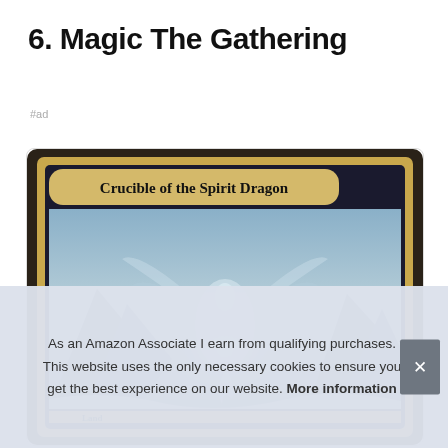6. Magic The Gathering
#ad
[Figure (photo): Magic The Gathering card 'Crucible of the Spirit Dragon' - a Land card with artwork showing a dragon spirit over a frozen landscape with mountains and ice.]
As an Amazon Associate I earn from qualifying purchases. This website uses the only necessary cookies to ensure you get the best experience on our website. More information